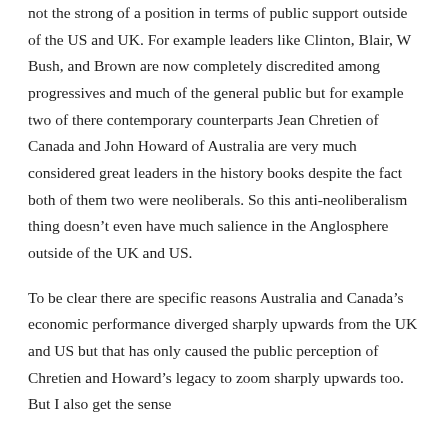not the strong of a position in terms of public support outside of the US and UK. For example leaders like Clinton, Blair, W Bush, and Brown are now completely discredited among progressives and much of the general public but for example two of there contemporary counterparts Jean Chretien of Canada and John Howard of Australia are very much considered great leaders in the history books despite the fact both of them two were neoliberals. So this anti-neoliberalism thing doesn’t even have much salience in the Anglosphere outside of the UK and US.
To be clear there are specific reasons Australia and Canada’s economic performance diverged sharply upwards from the UK and US but that has only caused the public perception of Chretien and Howard’s legacy to zoom sharply upwards too. But I also get the sense